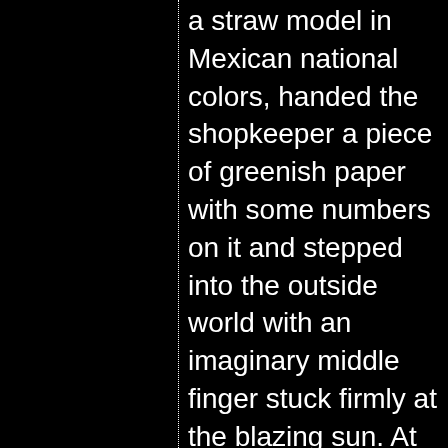a straw model in Mexican national colors, handed the shopkeeper a piece of greenish paper with some numbers on it and stepped into the outside world with an imaginary middle finger stuck firmly at the blazing sun. At least for the first few milliseconds. The Sun got back to me instantly through its close ally - the wind - and taught me a sobering lesson.